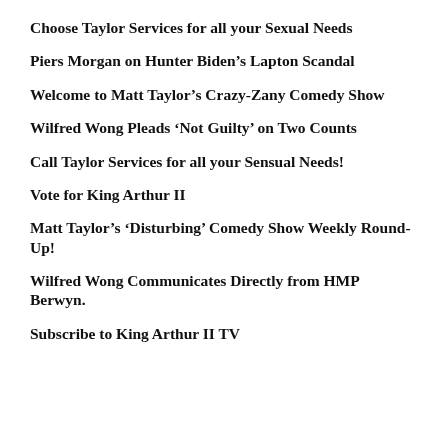Choose Taylor Services for all your Sexual Needs
Piers Morgan on Hunter Biden’s Lapton Scandal
Welcome to Matt Taylor’s Crazy-Zany Comedy Show
Wilfred Wong Pleads ‘Not Guilty’ on Two Counts
Call Taylor Services for all your Sensual Needs!
Vote for King Arthur II
Matt Taylor’s ‘Disturbing’ Comedy Show Weekly Round-Up!
Wilfred Wong Communicates Directly from HMP Berwyn.
Subscribe to King Arthur II TV